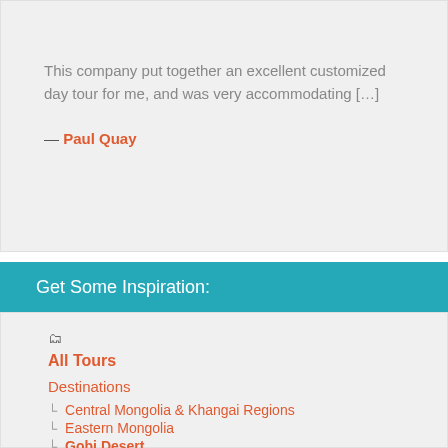This company put together an excellent customized day tour for me, and was very accommodating […]
— Paul Quay
Get Some Inspiration:
All Tours
Destinations
Central Mongolia & Khangai Regions
Eastern Mongolia
Gobi Desert